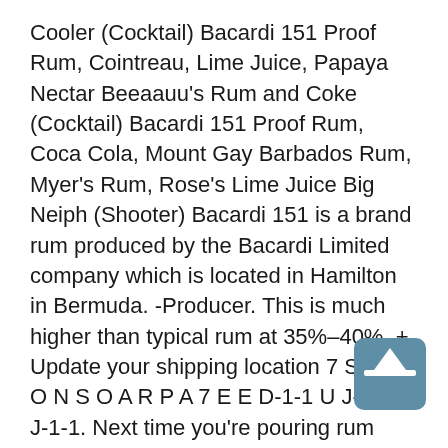Cooler (Cocktail) Bacardi 151 Proof Rum, Cointreau, Lime Juice, Papaya Nectar Beeaauu's Rum and Coke (Cocktail) Bacardi 151 Proof Rum, Coca Cola, Mount Gay Barbados Rum, Myer's Rum, Rose's Lime Juice Big Neiph (Shooter) Bacardi 151 is a brand rum produced by the Bacardi Limited company which is located in Hamilton in Bermuda. -Producer. This is much higher than typical rum at 35%-40%. + Update your shipping location 7 S 0 P O N S O A R P A 7 E E D-1-1 U J-1 0 F J-1-1. Next time you're pouring rum cocktails for your cohorts, serve up this nugget of rum trivia: Bacardi 151 gets its name for its proof level of 151. Copyright © 1995-2020 eBay Inc. Tutti i diritti riservati. What is a substitute for bacardi 151? A few examples are Gosling's Black Seal Dark 151 Rum, Lemon Hart 151 or the Pusser's British Navy Overproof Rum. I'm thinking specifically for a Caribou Lou, but I've seen some recipes that call for Bacardi 151. The flavor...
[Figure (other): A teal/blue-grey rounded square icon with a white upward arrow symbol]